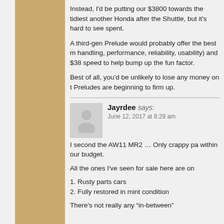Instead, I'd be putting our $3800 towards the tidiest another Honda after the Shuttle, but it's hard to see spent.
A third-gen Prelude would probably offer the best m handling, performance, reliability, usability) and $38 speed to help bump up the fun factor.
Best of all, you'd be unlikely to lose any money on t Preludes are beginning to firm up.
Jayrdee says: June 12, 2017 at 8:29 am
I second the AW11 MR2 … Only crappy pa within our budget.
All the ones I've seen for sale here are on
1. Rusty parts cars
2. Fully restored in mint condition
There's not really any “in-between”